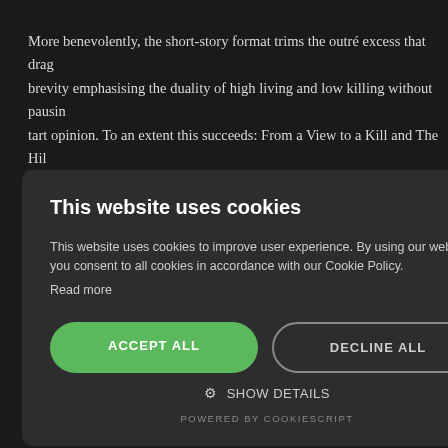More benevolently, the short-story format trims the outré excess that drag... brevity emphasising the duality of high living and low killing without pausin... tart opinion. To an extent this succeeds: From a View to a Kill and The Hil... contained, terse yet characterful admixtures of business and pleasure, wit... hiccoughs of pastoral digression, sexual unrealpolitik and dodgy racial obs... Only sprawls slightly (not totally convinced why it shifts to Canada other th... ...disguised Goldeneye k... ...as Ms. Baum herself b... ...missing from the 1981... ...and, given its aura of f... ...ith yewtrees. ...wasn't one of the telem... ...tter?) than the restricti... ...d quite the opposite to... ...elf could be a toxic me... ...ve's fixing of 12th Augu... ...hat it brings, utterly coi... Fleming's birthday. Gee, thanks Dad. That it turned out to be Fleming...
[Figure (screenshot): Cookie consent modal dialog with dark background, title 'This website uses cookies', body text explaining cookie usage, Accept All (green) and Decline All (outlined) buttons, Show Details option, and Powered by CookieScript footer.]